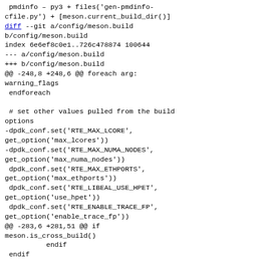pmdinfo – py3 + files('gen-pmdinfo-cfile.py') + [meson.current_build_dir()]
diff --git a/config/meson.build b/config/meson.build
index 6e6ef8c0e1..726c478874 100644
--- a/config/meson.build
+++ b/config/meson.build
@@ -248,8 +248,6 @@ foreach arg: warning_flags
 endforeach

 # set other values pulled from the build options
-dpdk_conf.set('RTE_MAX_LCORE', get_option('max_lcores'))
-dpdk_conf.set('RTE_MAX_NUMA_NODES', get_option('max_numa_nodes'))
 dpdk_conf.set('RTE_MAX_ETHPORTS', get_option('max_ethports'))
 dpdk_conf.set('RTE_LIBEAL_USE_HPET', get_option('use_hpet'))
 dpdk_conf.set('RTE_ENABLE_TRACE_FP', get_option('enable_trace_fp'))
@@ -283,6 +281,51 @@ if meson.is_cross_build()
            endif
  endif

+max_lcores = get_option('max_lcores')
+if max_lcores == 'auto'